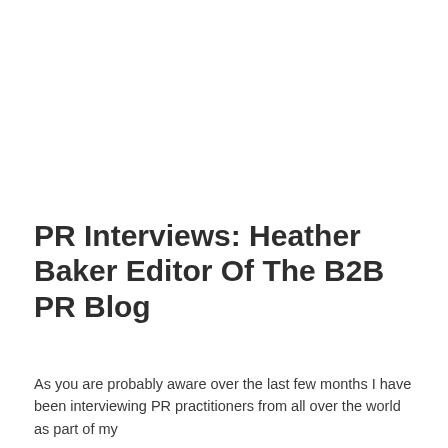PR Interviews: Heather Baker Editor Of The B2B PR Blog
As you are probably aware over the last few months I have been interviewing PR practitioners from all over the world as part of my